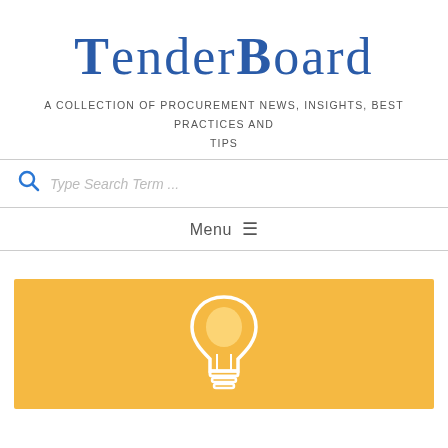TenderBoard
A COLLECTION OF PROCUREMENT NEWS, INSIGHTS, BEST PRACTICES AND TIPS
Type Search Term ...
Menu ☰
[Figure (illustration): Yellow/orange banner with a white outline lightbulb icon in the center]